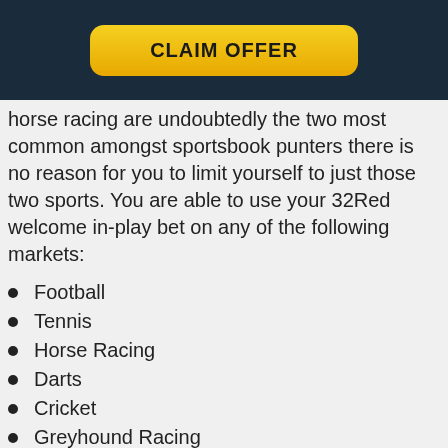[Figure (other): Yellow 'CLAIM OFFER' button on dark navy header bar]
horse racing are undoubtedly the two most common amongst sportsbook punters there is no reason for you to limit yourself to just those two sports. You are able to use your 32Red welcome in-play bet on any of the following markets:
Football
Tennis
Horse Racing
Darts
Cricket
Greyhound Racing
Golf
Basketball
Rugby Union